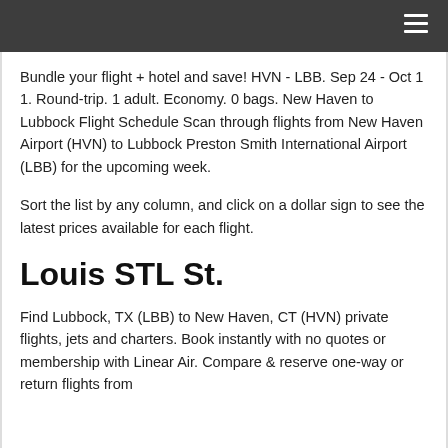Bundle your flight + hotel and save! HVN - LBB. Sep 24 - Oct 1 1. Round-trip. 1 adult. Economy. 0 bags. New Haven to Lubbock Flight Schedule Scan through flights from New Haven Airport (HVN) to Lubbock Preston Smith International Airport (LBB) for the upcoming week.
Sort the list by any column, and click on a dollar sign to see the latest prices available for each flight.
Louis STL St.
Find Lubbock, TX (LBB) to New Haven, CT (HVN) private flights, jets and charters. Book instantly with no quotes or membership with Linear Air. Compare & reserve one-way or return flights from